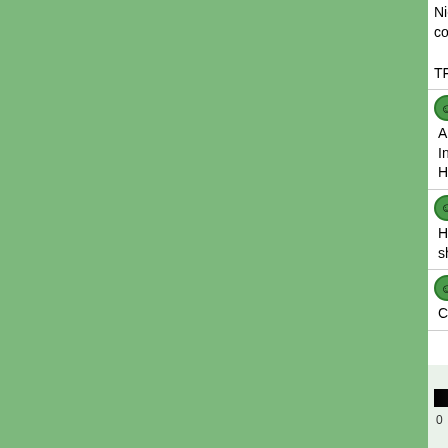Nice shot of a slightly worn Painted Lady greatest of jobs, that's the joy of wildlife p diagonal composition.

TFS regards Bill
horias (11033) [2009-07-31 10:19]
Alan,
Interesting capture this butterfly...sharp, n Congratulation!
Horia
lousat (65489) [2009-07-31 11:54]
Hi Alan,this comma is at the end of this s springtime,these are one of the first butte quality of sharpness and colors.My best c
Silvio2006 (102073) [2009-08-01 8:21]
Ciao Alan, beautiful macro of Polygonia w details, very well done, have a good wee
Cal
[Figure (other): Grayscale color bar ranging from black (0) to light gray (5+)]
Copyright © 2018 MH Sub I, LLC dba Internet Bran the Terms of Use. | Priv